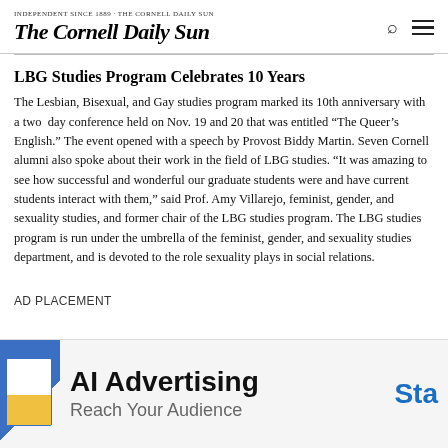The Cornell Daily Sun
LBG Studies Program Celebrates 10 Years
The Lesbian, Bisexual, and Gay studies program marked its 10th anniversary with a two day conference held on Nov. 19 and 20 that was entitled “The Queer’s English.” The event opened with a speech by Provost Biddy Martin. Seven Cornell alumni also spoke about their work in the field of LBG studies. “It was amazing to see how successful and wonderful our graduate students were and have current students interact with them,” said Prof. Amy Villarejo, feminist, gender, and sexuality studies, and former chair of the LBG studies program. The LBG studies program is run under the umbrella of the feminist, gender, and sexuality studies department, and is devoted to the role sexuality plays in social relations.
AD PLACEMENT
[Figure (infographic): Advertisement banner: AI Advertising - Reach Your Audience, Sta... (truncated). Features a laptop graphic on the left with a blue/yellow design, bold black text 'AI Advertising', gray subtitle 'Reach Your Audience', and blue text 'Sta' on the right (partially visible). Close button 'x' in top-left corner of banner.]